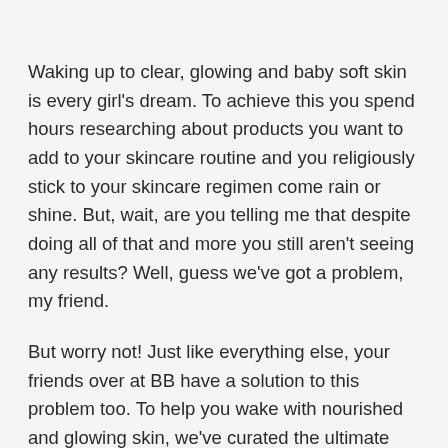Waking up to clear, glowing and baby soft skin is every girl's dream. To achieve this you spend hours researching about products you want to add to your skincare routine and you religiously stick to your skincare regimen come rain or shine. But, wait, are you telling me that despite doing all of that and more you still aren't seeing any results? Well, guess we've got a problem, my friend.
But worry not! Just like everything else, your friends over at BB have a solution to this problem too. To help you wake with nourished and glowing skin, we've curated the ultimate guide to help you perfect your nighttime routine for best results. Take a look...